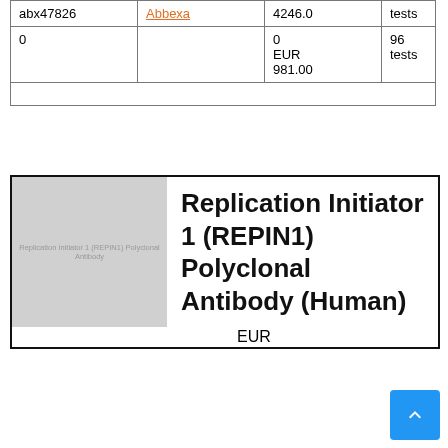| abx47826 | Abbexa | 4246.0
0
EUR
981.00 | tests
96
tests |
| 0 |  | 0
EUR
981.00 | 96
tests |
[Figure (photo): Product image placeholder for Replication Initiator 1 (REPIN1) Polyclonal Antibody (Human) - grey placeholder box with watermark text]
Replication Initiator 1 (REPIN1) Polyclonal Antibody (Human)
|  |  | EUR |  |